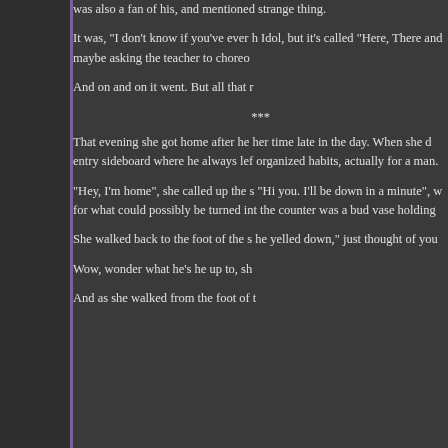was also a fan of his, and mentioned strange thing.
It was, "I don't know if you've ever h Idol, but it's called "Here, There and maybe asking the teacher to choreo
And on and on it went.  But all that r
***
That evening she got home after he her time late in the day.  When she d entry sideboard where he always lef organized habits, actually for a man.
"Hey, I'm home", she called up the s "Hi you.  I'll be down in a minute", w for what could possibly be turned int the counter was a bud vase holding
She walked back to the foot of the s he yelled down," just thought of you
Wow, wonder what he's he up to, sh
And as she walked from the foot of t